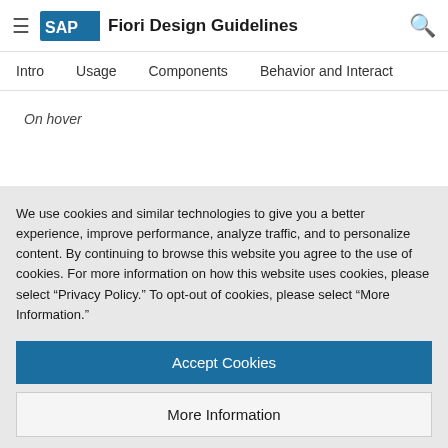SAP Fiori Design Guidelines
Intro | Usage | Components | Behavior and Interact
On hover
Selected
We use cookies and similar technologies to give you a better experience, improve performance, analyze traffic, and to personalize content. By continuing to browse this website you agree to the use of cookies. For more information on how this website uses cookies, please select “Privacy Policy.” To opt-out of cookies, please select “More Information.”
Accept Cookies
More Information
Privacy Policy | Powered by: TrustArc
The tokenizer can also be used as a tag container.